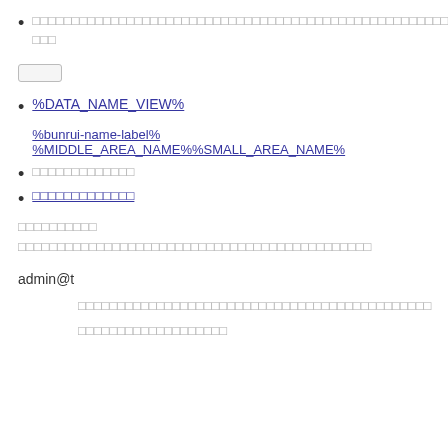□□□□□□□□□□□□□□□□□□□□□□□□□□□□□□□□□□□□□□□□□□□□□□□□□□□
[Figure (other): Small rounded rectangle input/button element]
%DATA_NAME_VIEW%
%bunrui-name-label%
%MIDDLE_AREA_NAME%%SMALL_AREA_NAME%
□□□□□□□□□□□□□
□□□□□□□□□□□□□ (blue link)
□□□□□□□□□□
□□□□□□□□□□□□□□□□□□□□□□□□□□□□□□□□□□□□□□□□□□□□□
admin@t
□□□□□□□□□□□□□□□□□□□□□□□□□□□□□□□□□□□□□□□□□□□□□
□□□□□□□□□□□□□□□□□□□